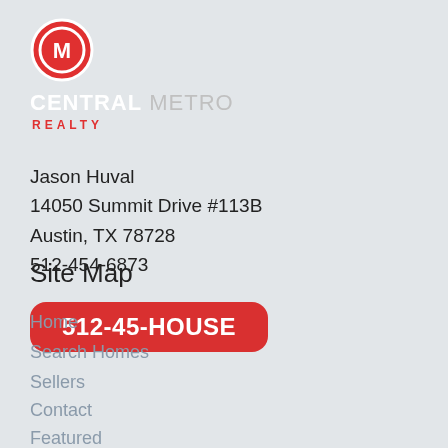[Figure (logo): Central Metro Realty logo: red circle with white CM icon, text CENTRAL METRO in white/gray, REALTY in red]
Jason Huval
14050 Summit Drive #113B
Austin, TX 78728
512-454-6873
512-45-HOUSE
Site Map
Home
Search Homes
Sellers
Contact
Featured